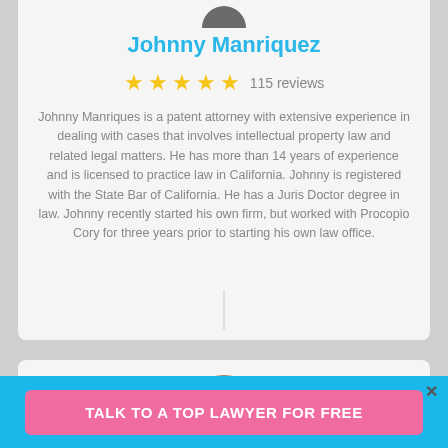Johnny Manriquez
115 reviews
Johnny Manriques is a patent attorney with extensive experience in dealing with cases that involves intellectual property law and related legal matters. He has more than 14 years of experience and is licensed to practice law in California. Johnny is registered with the State Bar of California. He has a Juris Doctor degree in law. Johnny recently started his own firm, but worked with Procopio Cory for three years prior to starting his own law office.
TALK TO A TOP LAWYER FOR FREE